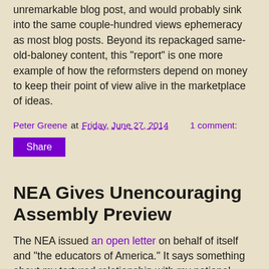unremarkable blog post, and would probably sink into the same couple-hundred views ephemeracy as most blog posts. Beyond its repackaged same-old-baloney content, this "report" is one more example of how the reformsters depend on money to keep their point of view alive in the marketplace of ideas.
Peter Greene at Friday, June 27, 2014   1 comment:
Share
NEA Gives Unencouraging Assembly Preview
The NEA issued an open letter on behalf of itself and "the educators of America." It says something about my tortured relationship with my national union that when they speak, I become anxious. Are they going to say something useful, or are they going to embarrass me again? Let's see how things go this time.